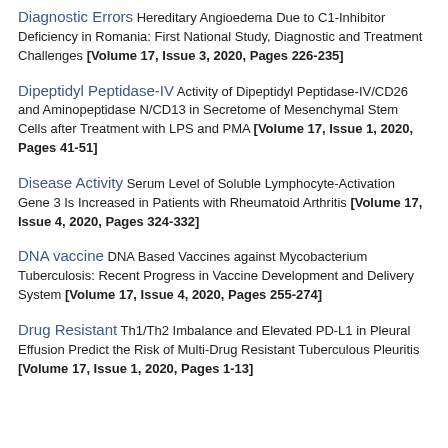Diagnostic Errors Hereditary Angioedema Due to C1-Inhibitor Deficiency in Romania: First National Study, Diagnostic and Treatment Challenges [Volume 17, Issue 3, 2020, Pages 226-235]
Dipeptidyl Peptidase-IV Activity of Dipeptidyl Peptidase-IV/CD26 and Aminopeptidase N/CD13 in Secretome of Mesenchymal Stem Cells after Treatment with LPS and PMA [Volume 17, Issue 1, 2020, Pages 41-51]
Disease Activity Serum Level of Soluble Lymphocyte-Activation Gene 3 Is Increased in Patients with Rheumatoid Arthritis [Volume 17, Issue 4, 2020, Pages 324-332]
DNA vaccine DNA Based Vaccines against Mycobacterium Tuberculosis: Recent Progress in Vaccine Development and Delivery System [Volume 17, Issue 4, 2020, Pages 255-274]
Drug Resistant Th1/Th2 Imbalance and Elevated PD-L1 in Pleural Effusion Predict the Risk of Multi-Drug Resistant Tuberculous Pleuritis [Volume 17, Issue 1, 2020, Pages 1-13]